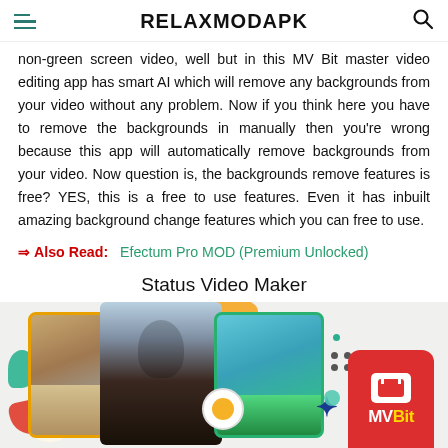RELAXMODAPK
non-green screen video, well but in this MV Bit master video editing app has smart AI which will remove any backgrounds from your video without any problem. Now if you think here you have to remove the backgrounds in manually then you're wrong because this app will automatically remove backgrounds from your video. Now question is, the backgrounds remove features is free? YES, this is a free to use features. Even it has inbuilt amazing background change features which you can free to use.
⇒Also Read: Efectum Pro MOD (Premium Unlocked)
Status Video Maker
[Figure (screenshot): Screenshot showing MVBit app interface with status video maker feature — two photo frames of a woman at a beach/travel scene, decorative blobs and the MVBit red logo in the corner.]